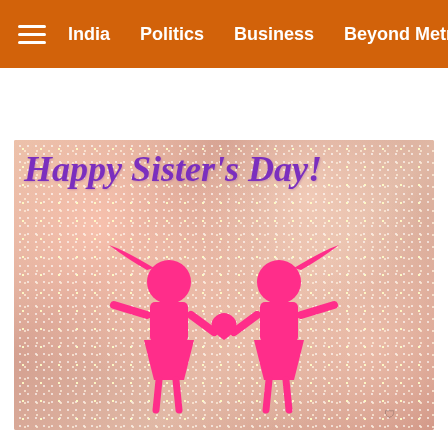India | Politics | Business | Beyond Metros
[Figure (illustration): Happy Sister's Day greeting card with rose gold glitter background, purple cursive text reading 'Happy Sister's Day!' and two pink stick-figure girls holding hands with a heart between them.]